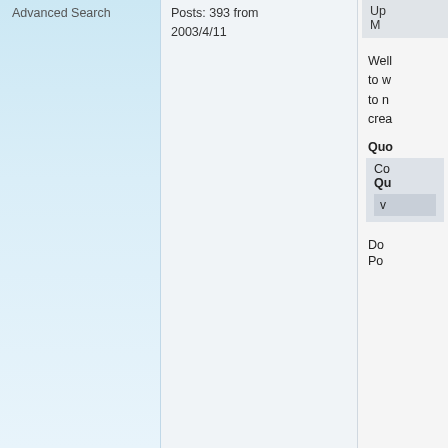Advanced Search
Posts: 393 from 2003/4/11
Up
M
Well to w to n crea
Quo
Co
Qu
v
Do
Po